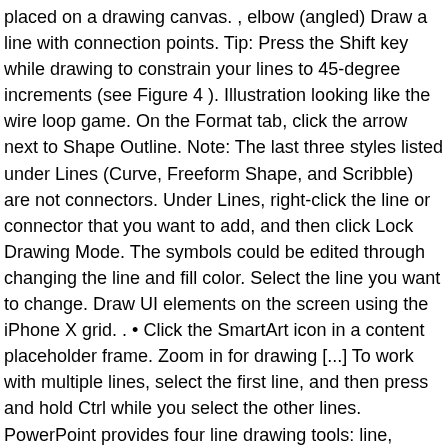placed on a drawing canvas. , elbow (angled) Draw a line with connection points. Tip: Press the Shift key while drawing to constrain your lines to 45-degree increments (see Figure 4 ). Illustration looking like the wire loop game. On the Format tab, click the arrow next to Shape Outline. Note: The last three styles listed under Lines (Curve, Freeform Shape, and Scribble) are not connectors. Under Lines, right-click the line or connector that you want to add, and then click Lock Drawing Mode. The symbols could be edited through changing the line and fill color. Select the line you want to change. Draw UI elements on the screen using the iPhone X grid. . • Click the SmartArt icon in a content placeholder frame. Zoom in for drawing [...] To work with multiple lines, select the first line, and then press and hold Ctrl while you select the other lines. PowerPoint provides four line drawing tools: line, curve, freeform, and scribble. Whatever simplifies is useful. Twisting line with circles with icons displayed in the curves. 2. 1. Point the cursor to where you want the line to start. Copyright © 2020 Edrawsoft. Using Ink Tools: Open Microsoft PowerPoint